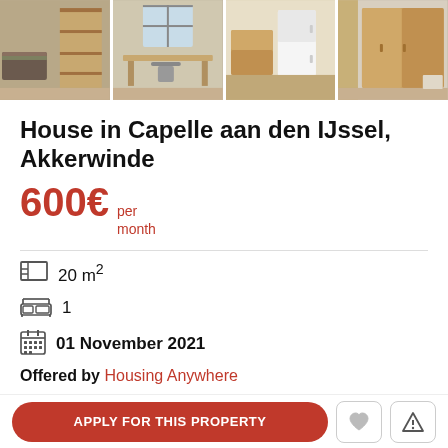[Figure (photo): Four room/interior photos of the property shown in a horizontal strip]
House in Capelle aan den IJssel, Akkerwinde
600€ per month
20 m²
1
01 November 2021
Offered by Housing Anywhere
APPLY FOR THIS PROPERTY